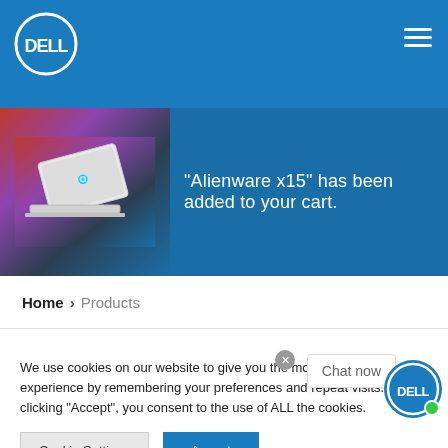[Figure (logo): Dell logo in white circle on blue header background]
[Figure (screenshot): Alienware x15 laptop product image on colorful background with cart notification text: "Alienware x15" has been added to your cart.]
Home > Products
We use cookies on our website to give you the most relevant experience by remembering your preferences and repeat visits. By clicking "Accept", you consent to the use of ALL the cookies.
Cookie Settings
Accept
Chat now